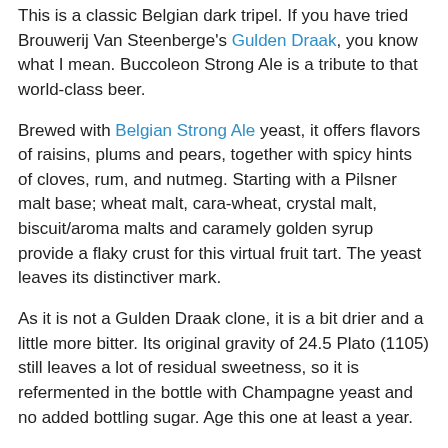This is a classic Belgian dark tripel. If you have tried Brouwerij Van Steenberge's Gulden Draak, you know what I mean. Buccoleon Strong Ale is a tribute to that world-class beer.
Brewed with Belgian Strong Ale yeast, it offers flavors of raisins, plums and pears, together with spicy hints of cloves, rum, and nutmeg. Starting with a Pilsner malt base; wheat malt, cara-wheat, crystal malt, biscuit/aroma malts and caramely golden syrup provide a flaky crust for this virtual fruit tart. The yeast leaves its distinctiver mark.
As it is not a Gulden Draak clone, it is a bit drier and a little more bitter. Its original gravity of 24.5 Plato (1105) still leaves a lot of residual sweetness, so it is refermented in the bottle with Champagne yeast and no added bottling sugar. Age this one at least a year.